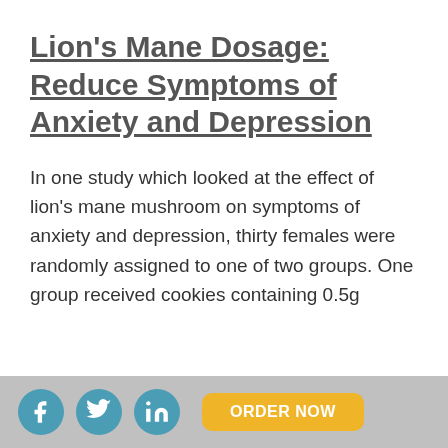Lion's Mane Dosage: Reduce Symptoms of Anxiety and Depression
In one study which looked at the effect of lion's mane mushroom on symptoms of anxiety and depression, thirty females were randomly assigned to one of two groups. One group received cookies containing 0.5g
Social share icons (Facebook, Twitter, LinkedIn) and ORDER NOW button